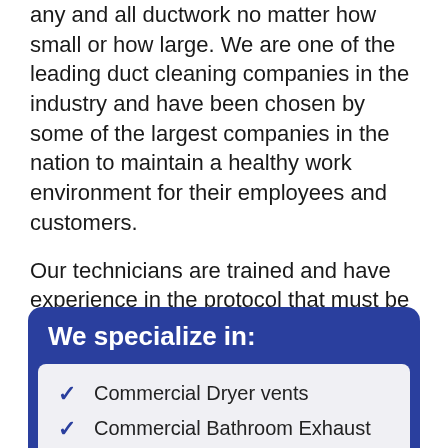any and all ductwork no matter how small or how large. We are one of the leading duct cleaning companies in the industry and have been chosen by some of the largest companies in the nation to maintain a healthy work environment for their employees and customers.
Our technicians are trained and have experience in the protocol that must be followed in high security clearance buildings such as: hospitals, universities, government buildings, day care centers, banks and more!
We specialize in:
Commercial Dryer vents
Commercial Bathroom Exhaust